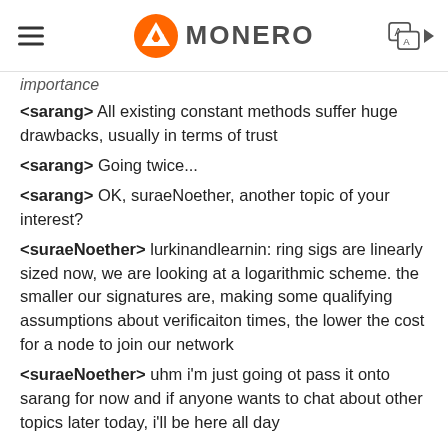MONERO
importance
<sarang> All existing constant methods suffer huge drawbacks, usually in terms of trust
<sarang> Going twice...
<sarang> OK, suraeNoether, another topic of your interest?
<suraeNoether> lurkinandlearnin: ring sigs are linearly sized now, we are looking at a logarithmic scheme. the smaller our signatures are, making some qualifying assumptions about verificaiton times, the lower the cost for a node to join our network
<suraeNoether> uhm i'm just going ot pass it onto sarang for now and if anyone wants to chat about other topics later today, i'll be here all day